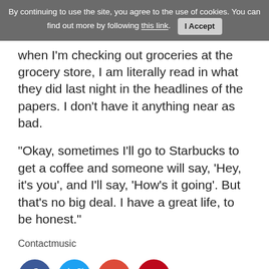By continuing to use the site, you agree to the use of cookies. You can find out more by following this link.  I Accept
when I'm checking out groceries at the grocery store, I am literally read in what they did last night in the headlines of the papers. I don't have it anything near as bad.
"Okay, sometimes I'll go to Starbucks to get a coffee and someone will say, 'Hey, it's you', and I'll say, 'How's it going'. But that's no big deal. I have a great life, to be honest."
Contactmusic
[Figure (infographic): Social media share icons: Facebook (blue circle), Twitter (light blue circle), Google+ (orange/red circle with g+), Pinterest (red circle with P)]